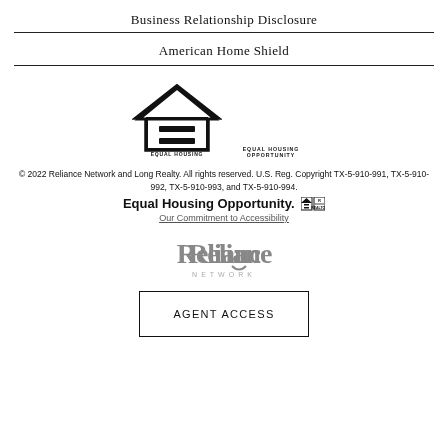Business Relationship Disclosure
American Home Shield
[Figure (logo): Equal Housing Opportunity logo — house outline with an equals sign inside, and text 'EQUAL HOUSING OPPORTUNITY' below]
© 2022 Reliance Network and Long Realty. All rights reserved. U.S. Reg. Copyright TX-5-910-991, TX-5-910-992, TX-5-910-993, and TX-5-910-994.
Equal Housing Opportunity.
Our Commitment to Accessibility
[Figure (logo): Reliance Network logo — stylized text 'Reliance' with arc under 'N', and 'NETWORK' below in small caps, gray color]
AGENT ACCESS